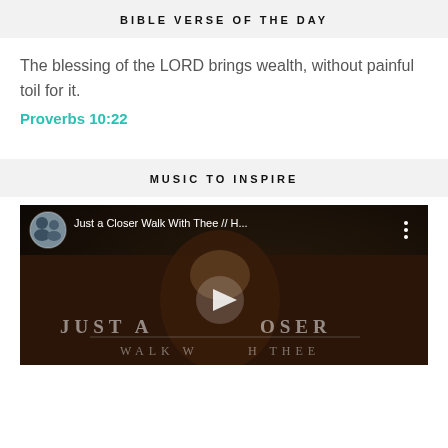BIBLE VERSE OF THE DAY
The blessing of the LORD brings wealth, without painful toil for it.
Proverbs 10:22
MUSIC TO INSPIRE
[Figure (screenshot): YouTube video thumbnail showing 'Just a Closer Walk With Thee // H...' with a man playing guitar, play button overlay, and text 'JUST A CLOSER WALK WITH THEE']